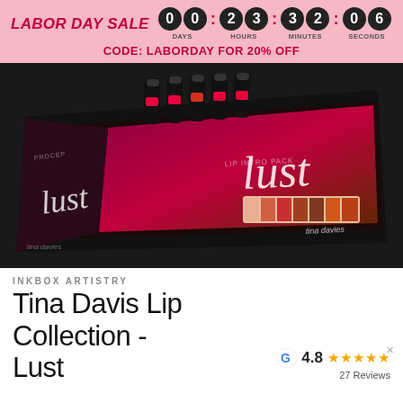LABOR DAY SALE 00 23:32:06 DAYS HOURS MINUTES SECONDS CODE: LABORDAY FOR 20% OFF
[Figure (photo): Product photo of Tina Davis Lust lip collection box set with pigment bottles and color palette in a black box on dark background]
INKBOX ARTISTRY
Tina Davis Lip Collection - Lust
4.8 ★★★★★ 27 Reviews